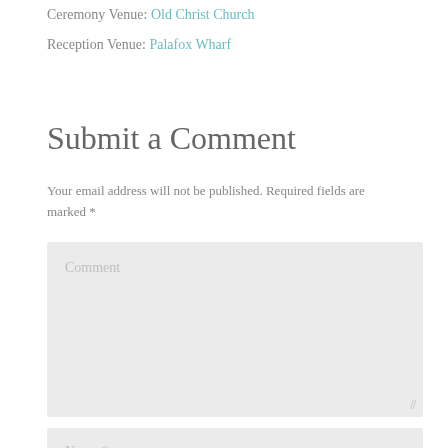Ceremony Venue: Old Christ Church
Reception Venue: Palafox Wharf
Submit a Comment
Your email address will not be published. Required fields are marked *
[Figure (other): Comment text area input field with placeholder text 'Comment']
[Figure (other): Name input field with placeholder text 'Name *']